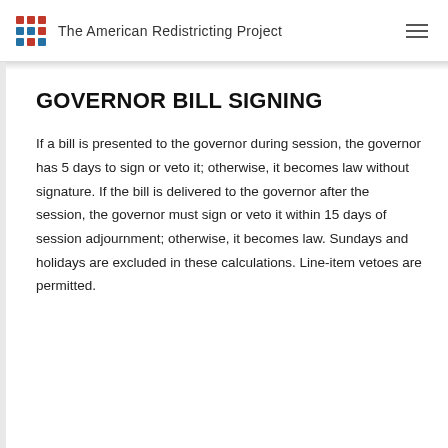The American Redistricting Project
GOVERNOR BILL SIGNING
If a bill is presented to the governor during session, the governor has 5 days to sign or veto it; otherwise, it becomes law without signature. If the bill is delivered to the governor after the session, the governor must sign or veto it within 15 days of session adjournment; otherwise, it becomes law. Sundays and holidays are excluded in these calculations. Line-item vetoes are permitted.